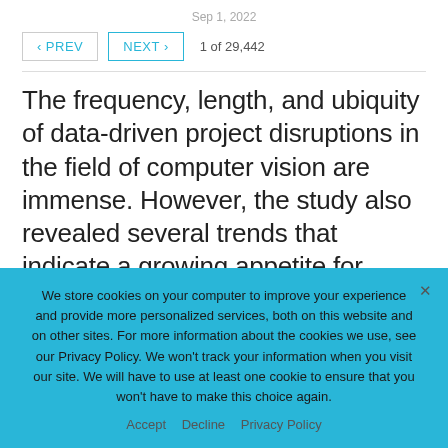Sep 1, 2022
< PREV   NEXT >   1 of 29,442
The frequency, length, and ubiquity of data-driven project disruptions in the field of computer vision are immense. However, the study also revealed several trends that indicate a growing appetite for synthetic data. The research revealed that a staggering 96% of
We store cookies on your computer to improve your experience and provide more personalized services, both on this website and on other sites. For more information about the cookies we use, see our Privacy Policy. We won't track your information when you visit our site. We will have to use at least one cookie to ensure that you won't have to make this choice again.
Accept   Decline   Privacy Policy